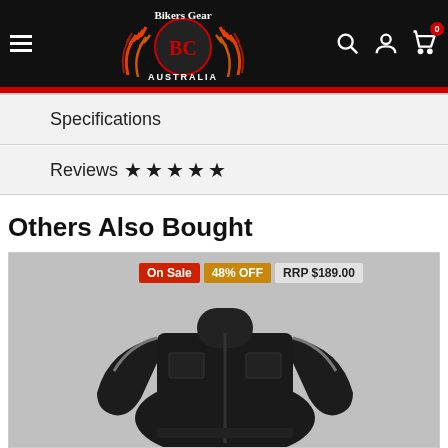[Figure (logo): Bikers Gear Australia logo with flames and BC emblem on black header bar]
Specifications
Reviews ★★★★★
Others Also Bought
[Figure (photo): Black motorcycle jacket product image with On Sale badge, 48% OFF badge, and RRP $189.00 badge]